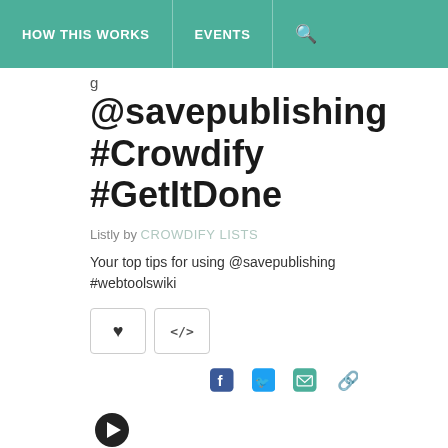HOW THIS WORKS | EVENTS | 🔍
@savepublishing #Crowdify #GetItDone
Listly by CROWDIFY LISTS
Your top tips for using @savepublishing #webtoolswiki
[Figure (screenshot): Action buttons: heart/like button and embed </> button, followed by social share icons for Facebook, Twitter, email, and link]
[Figure (infographic): Right arrow circle navigation button]
+ Add To List